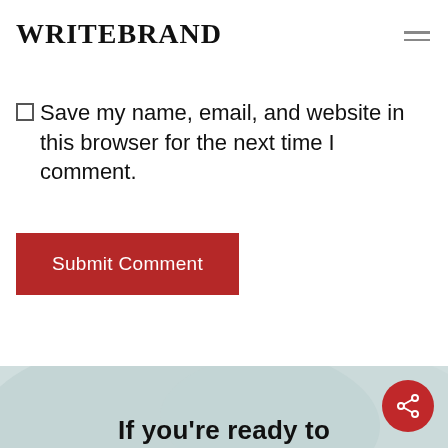WRITEBRAND
Save my name, email, and website in this browser for the next time I comment.
Submit Comment
If you're ready to